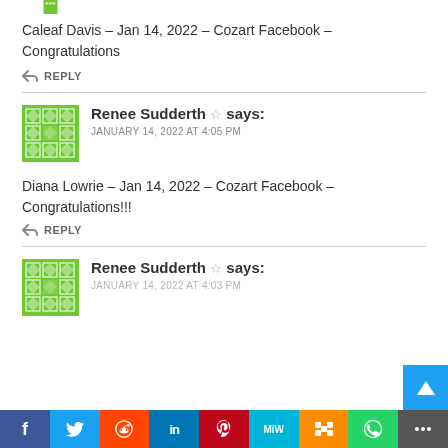[Figure (illustration): Partial green geometric/floral pattern avatar at top]
Caleaf Davis – Jan 14, 2022 – Cozart Facebook – Congratulations
↩ REPLY
[Figure (illustration): Green geometric/floral pattern avatar for Renee Sudderth]
Renee Sudderth ☆ says:
JANUARY 14, 2022 AT 4:05 PM
Diana Lowrie – Jan 14, 2022 – Cozart Facebook – Congratulations!!!
↩ REPLY
[Figure (illustration): Green geometric/floral pattern avatar for Renee Sudderth (second comment)]
Renee Sudderth ☆ says:
JANUARY 14, 2022 AT 4:03 PM
f  Twitter  Reddit  in  Pinterest  MiW  Mix  WhatsApp  Share